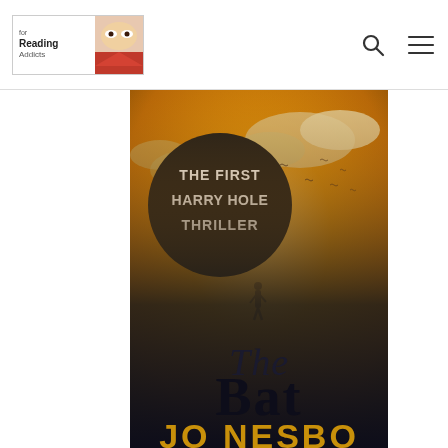For Reading Addicts — navigation header with logo, search icon, and menu icon
[Figure (illustration): Book cover of 'The Bat' by Jo Nesbo — the first Harry Hole Thriller. Cover shows a warm golden-orange sky with clouds, birds in flight, a lone silhouetted figure walking, a black circular badge reading 'THE FIRST HARRY HOLE THRILLER', large title text 'The Bat' in dark serif font, and author name 'JO NESBO' in large golden letters at the bottom.]